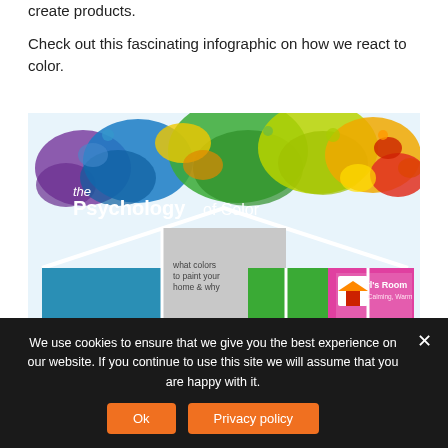create products.
Check out this fascinating infographic on how we react to color.
[Figure (infographic): The Psychology of Color infographic showing what colors to paint your home and why, with rooms including Office (Blue: Most productive color), Bedroom (Green: Tranquility and Health), and Girl's Room (Pink: Calming, Warm), featuring colorful paint splash background.]
We use cookies to ensure that we give you the best experience on our website. If you continue to use this site we will assume that you are happy with it.
Ok
Privacy policy